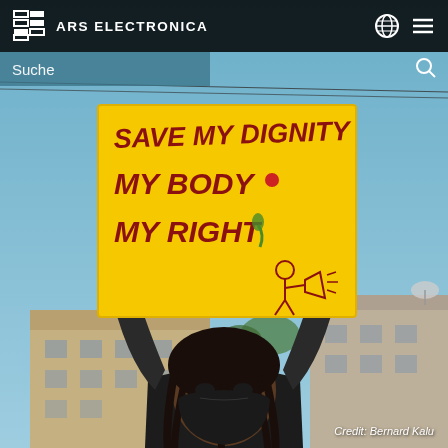[Figure (photo): A person wearing a black mask and black long-sleeve shirt holds up a large yellow protest sign above their head with both arms raised. The sign reads 'SAVE MY DIGNITY / MY BODY / MY RIGHT' in dark red/maroon handwritten letters, with a small cartoon figure drawn on it. The background shows a blue sky with power lines and a building with satellite dishes.]
ARS ELECTRONICA
Suche
Credit: Bernard Kalu